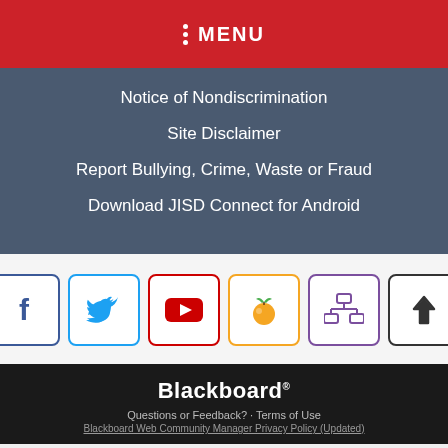MENU
Notice of Nondiscrimination
Site Disclaimer
Report Bullying, Crime, Waste or Fraud
Download JISD Connect for Android
[Figure (infographic): Row of 6 social/utility icon boxes: Facebook (blue border, f icon), Twitter (blue border, bird icon), YouTube (red border, play button), Peachjar (orange border, orange fruit icon), Sitemap (purple border, org chart icon), Scroll to top (dark border, up arrow)]
Blackboard
Questions or Feedback? · Terms of Use
Blackboard Web Community Manager Privacy Policy (Updated)
View Full Site